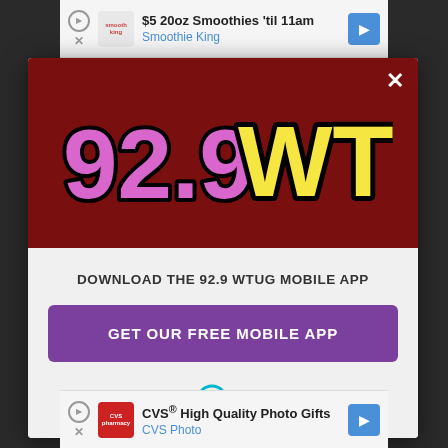[Figure (screenshot): Top advertisement banner: '$5 20oz Smoothies 'til 11am / Smoothie King' with navigation arrow button]
[Figure (screenshot): 92.9 WTUG radio station modal popup with dark red header showing station logo, body with download CTA and Amazon Alexa listen option]
DOWNLOAD THE 92.9 WTUG MOBILE APP
GET OUR FREE MOBILE APP
Also listen on:  amazon alexa
[Figure (screenshot): Bottom advertisement banner: 'CVS® High Quality Photo Gifts / CVS Photo' with navigation arrow button]